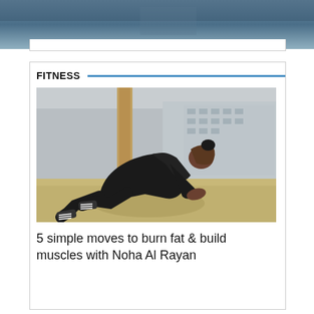[Figure (photo): Top portion of a photo, showing blue/grey tones, partially cropped at top of page]
FITNESS
[Figure (photo): A person in all-black athletic wear performing a mountain climber exercise pose on a sandy/concrete outdoor surface, with buildings in the background]
5 simple moves to burn fat & build muscles with Noha Al Rayan